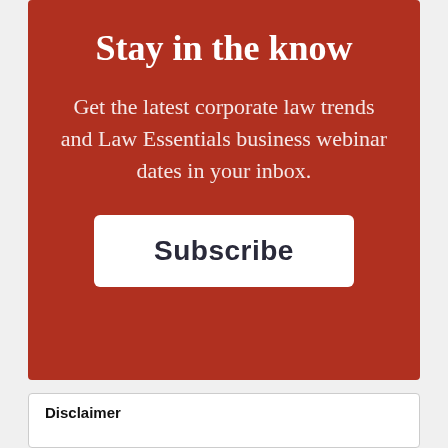Stay in the know
Get the latest corporate law trends and Law Essentials business webinar dates in your inbox.
Subscribe
Disclaimer